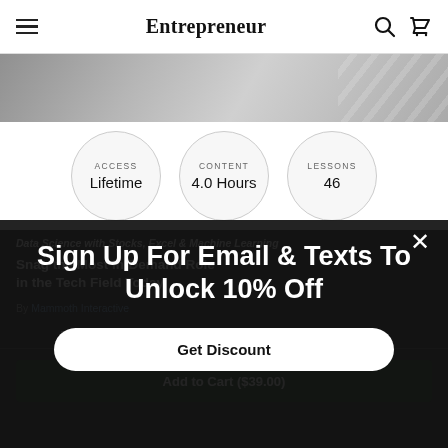Entrepreneur
[Figure (photo): Hero image strip at top of page showing a blurred/gradient background with diagonal stripe pattern on right side]
ACCESS
Lifetime
CONTENT
4.0 Hours
LESSONS
46
Data Science with Stocks, Excel & Machine Learning
Snag the Most In-Demand Role in the Tech Field Today
By Mammoth Interactive
Description   Instructor   Specs
Add to Cart ($39.00)
Sign Up For Email & Texts To Unlock 10% Off
Get Discount